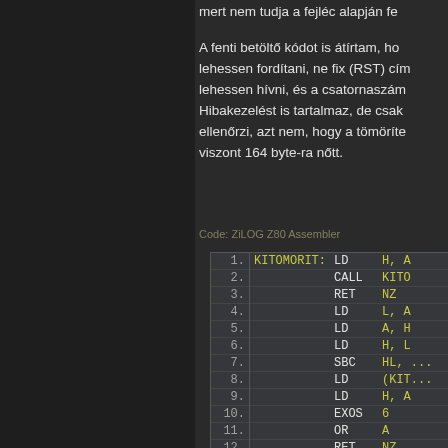mert nem tudja a fejléc alapján fe
A fenti betöltő kódot is átírtam, ho lehessen fordítani, ne fix (RST) cím lehessen hívni, és a csatornaszám Hibakezelést is tartalmaz, de csak ellenőrzi, azt nem, hogy a tömöríte viszont 164 byte-ra nőtt.
Code: ZiLOG Z80 Assembler
| # | Label | Mnemonic | Operands |
| --- | --- | --- | --- |
| 1. | KITOMORIT: | LD | H, A |
| 2. |  | CALL | KITO |
| 3. |  | RET | NZ |
| 4. |  | LD | L, A |
| 5. |  | LD | A, H |
| 6. |  | LD | H, L |
| 7. |  | SBC | HL, ... |
| 8. |  | LD | (KIT... |
| 9. |  | LD | H, A |
| 10. |  | EXOS | 6 |
| 11. |  | OR | A |
| 12. |  | RET | NZ |
| 13. |  | CALL | KITO |
| 14. |  | RET | NZ |
| 15. |  | LD |  |